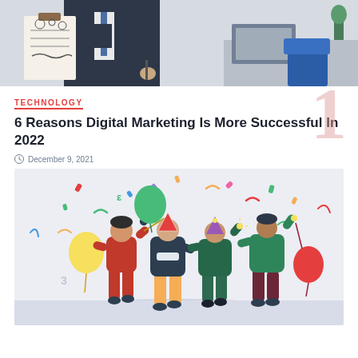[Figure (photo): A man in a suit holding a clipboard with diagrams, standing in an office environment with chairs and desks in background]
TECHNOLOGY
6 Reasons Digital Marketing Is More Successful In 2022
December 9, 2021
[Figure (illustration): Colorful flat illustration of four people celebrating with balloons and confetti in party hats]